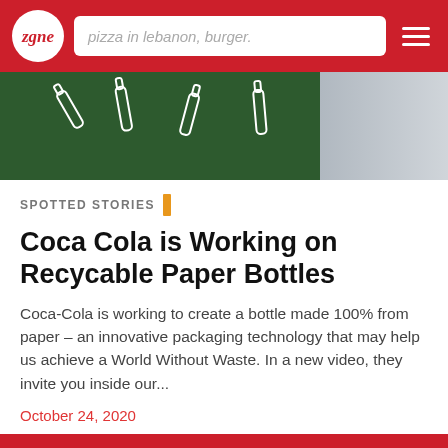zgnc — navigation bar with logo, search bar (pizza in lebanon, burger.), and hamburger menu
[Figure (photo): Dark green background with white outline illustrations of bottles floating. Right side shows a lighter gray gradient panel.]
SPOTTED STORIES
Coca Cola is Working on Recycable Paper Bottles
Coca-Cola is working to create a bottle made 100% from paper – an innovative packaging technology that may help us achieve a World Without Waste. In a new video, they invite you inside our...
October 24, 2020
[Figure (photo): Red background with a dark bottle visible at the bottom of the page.]